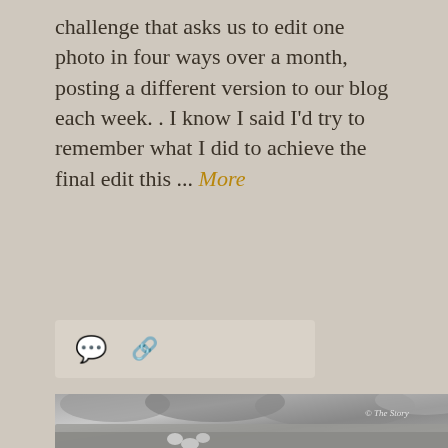challenge that asks us to edit one photo in four ways over a month, posting a different version to our blog each week. . I know I said I'd try to remember what I did to achieve the final edit this ... More
[Figure (other): Icons row with a speech bubble (comment) icon and a chain link icon on a light beige background bar]
[Figure (photo): Black and white close-up photograph of small clover leaves and a large mossy rock in the foreground with blurred larger leaves in the background. Watermark reads '© The Story' in the upper right.]